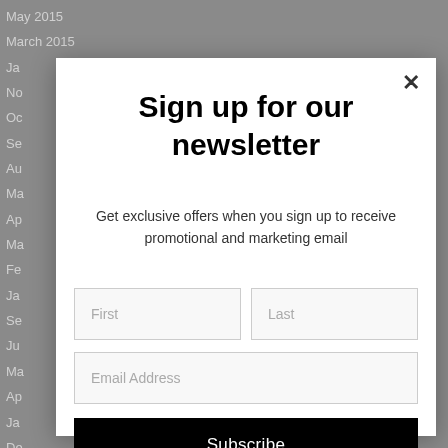May 2015
March 2015
Ja...
No...
Oc...
Se...
Au...
Ma...
Ap...
Ma...
Fe...
Ja...
Se...
Ju...
Ma...
Ap...
Ja...
De...
No...
October 2012
September 2012
Sign up for our newsletter
Get exclusive offers when you sign up to receive promotional and marketing email
First
Last
Email Address
Subscribe